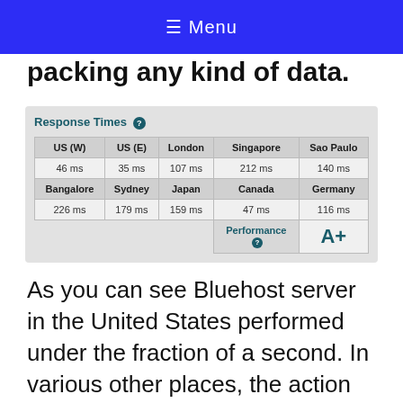≡ Menu
packing any kind of data.
| US (W) | US (E) | London | Singapore | Sao Paulo |
| --- | --- | --- | --- | --- |
| 46 ms | 35 ms | 107 ms | 212 ms | 140 ms |
| Bangalore | Sydney | Japan | Canada | Germany |
| 226 ms | 179 ms | 159 ms | 47 ms | 116 ms |
As you can see Bluehost server in the United States performed under the fraction of a second. In various other places, the action was a little bit higher